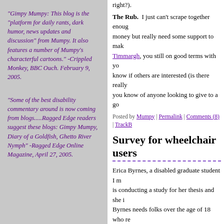right?).
The Rub. I just can't scrape together enough money but really need some support to make Timmargh, you still on good terms with you know if others are interested (is there really a you know of anyone looking to give to a goo
Posted by Mumpy | Permalink | Comments (8) | TrackB
Survey for wheelchair users
Erica Byrnes, a disabled graduate student I m is conducting a study for her thesis and she i Byrnes needs folks over the age of 18 who re her anonymous online survey. Let's help ou
Posted by Mumpy | Permalink | Comments (0) | TrackB
Perhaps..........
If doctors don't want their patients to feel
"Gimpy Mumpy: This blog is the "platform for daily rants, dark humor, news updates and discussion" from Mumpy. It also features a number of Mumpy's characterful cartoons." -Crippled Monkey, BBC Ouch. February 9, 2005.
"Some of the best disability commentary around is now coming from blogs.....Ragged Edge readers suggest these blogs: Gimpy Mumpy, Diary of a Goldfish, Ghetto River Nymph" -Ragged Edge Online Magazine, April 27, 2005.